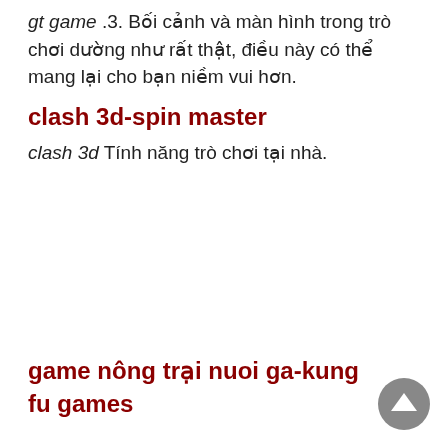gt game .3. Bối cảnh và màn hình trong trò chơi dường như rất thật, điều này có thể mang lại cho bạn niềm vui hơn.
clash 3d-spin master
clash 3d Tính năng trò chơi tại nhà.
game nông trại nuoi ga-kung fu games